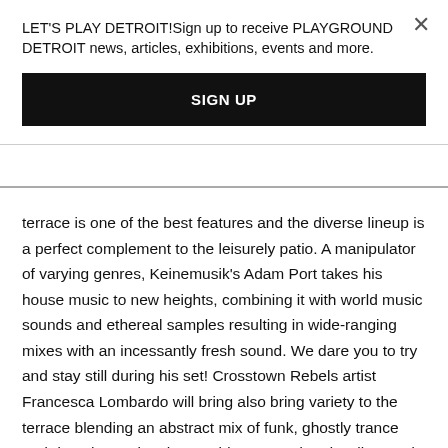LET'S PLAY DETROIT!Sign up to receive PLAYGROUND DETROIT news, articles, exhibitions, events and more.
SIGN UP
terrace is one of the best features and the diverse lineup is a perfect complement to the leisurely patio. A manipulator of varying genres, Keinemusik's Adam Port takes his house music to new heights, combining it with world music sounds and ethereal samples resulting in wide-ranging mixes with an incessantly fresh sound. We dare you to try and stay still during his set! Crosstown Rebels artist Francesca Lombardo will bring also bring variety to the terrace blending an abstract mix of funk, ghostly trance and deep house into her world renowned and well versed music. Chuck Daniels is a Detroit OG and wearer of many hats. A DJ, Producer and Sampled Recordings Detroit label head, this man can do it